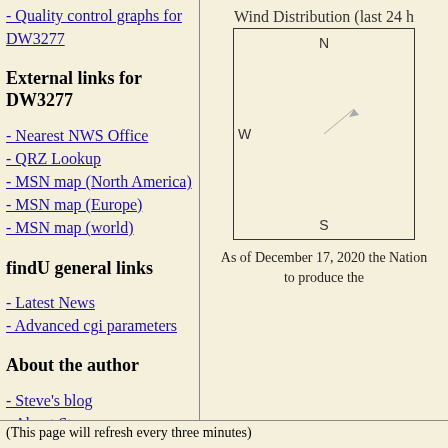- Quality control graphs for DW3277
External links for DW3277
- Nearest NWS Office
- QRZ Lookup
- MSN map (North America)
- MSN map (Europe)
- MSN map (world)
findU general links
- Latest News
- Advanced cgi parameters
About the author
- Steve's blog
- About Steve
[Figure (other): Wind Distribution compass diagram (last 24 hours) showing N, S, W cardinal directions with a wind rose or direction indicator inside a square box]
As of December 17, 2020 the Nation... to produce the...
(This page will refresh every three minutes)